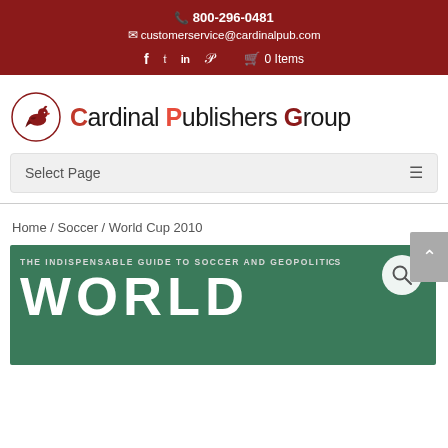📞 800-296-0481
✉ customerservice@cardinalpub.com
f  𝕥  in  𝒫  🛒 0 Items
[Figure (logo): Cardinal Publishers Group logo with cardinal bird in circle and text]
Select Page
Home / Soccer / World Cup 2010
[Figure (photo): Book cover showing 'THE INDISPENSABLE GUIDE TO SOCCER AND GEOPOLITICS' with large text 'WORLD' on green background]